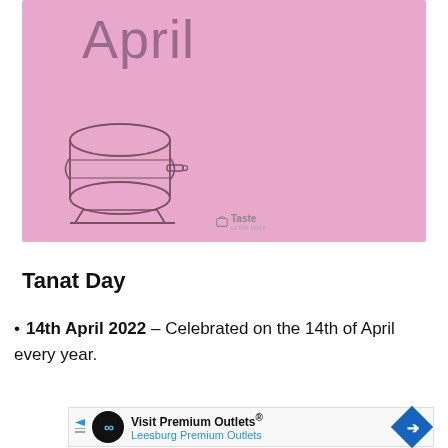[Figure (illustration): Pink background banner with large 'April' text at the top, a line-art wine barrel illustration in the lower left, and a small 'Taste' logo watermark in the lower center-right.]
Tanat Day
14th April 2022 – Celebrated on the 14th of April every year.
[Figure (screenshot): Advertisement banner: Visit Premium Outlets® – Leesburg Premium Outlets, with a circular infinity logo and a blue diamond arrow icon.]